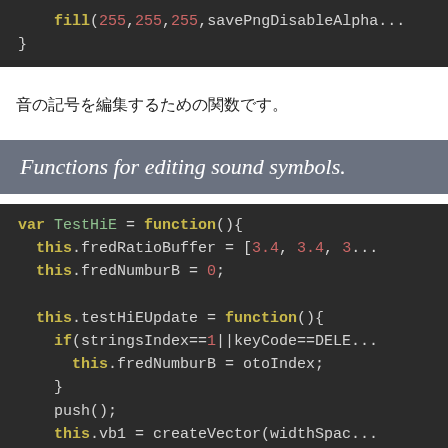fill(255,255,255,savePngDisableAlpha
}
音の記号を編集するための関数です。
Functions for editing sound symbols.
var TestHiE = function(){
  this.fredRatioBuffer = [3.4, 3.4, 3...
  this.fredNumburB = 0;

  this.testHiEUpdate = function(){
    if(stringsIndex==1||keyCode==DELE...
      this.fredNumburB = otoIndex;
    }
    push();
    this.vb1 = createVector(widthSpac...
    this.vb2 = createVector(widthSpac...